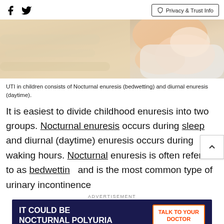Facebook Twitter | Privacy & Trust Info
[Figure (photo): Close-up photo of a child/baby with hands near face, resting on cream-colored knitted blanket]
UTI in children consists of Nocturnal enuresis (bedwetting) and diurnal enuresis (daytime).
It is easiest to divide childhood enuresis into two groups. Nocturnal enuresis occurs during sleep and diurnal (daytime) enuresis occurs during waking hours. Nocturnal enuresis is often referred to as bedwetting and is the most common type of urinary incontinence
[Figure (infographic): Advertisement banner: IT COULD BE NOCTURNAL POLYURIA — TALK TO YOUR DOCTOR]